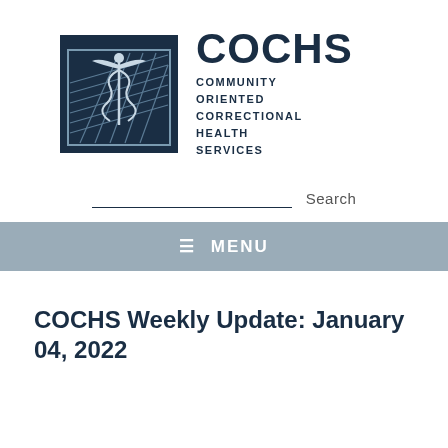[Figure (logo): COCHS logo: caduceus medical symbol overlaid on a prison/jail grid graphic in navy blue and white, square format]
COCHS COMMUNITY ORIENTED CORRECTIONAL HEALTH SERVICES
Search
≡ MENU
COCHS Weekly Update: January 04, 2022